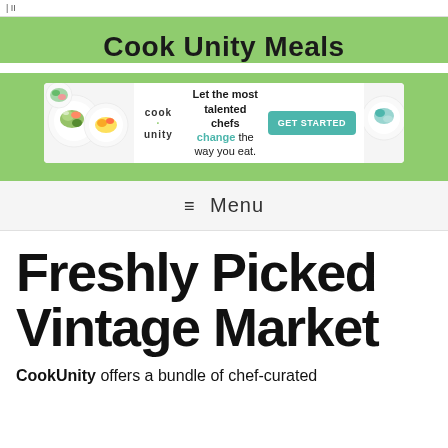| II
Cook Unity Meals
[Figure (infographic): CookUnity advertisement banner showing food images on left, logo 'cook unity', text 'Let the most talented chefs change the way you eat.' and a teal 'GET STARTED' button]
≡ Menu
Freshly Picked Vintage Market
CookUnity offers a bundle of chef-curated